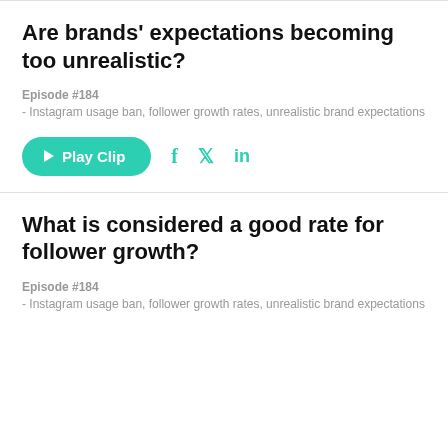Are brands' expectations becoming too unrealistic?
Episode #184
- Instagram usage ban, follower growth rates, unrealistic brand expectations
[Figure (other): Play Clip button with social share icons for Facebook, Twitter, LinkedIn]
What is considered a good rate for follower growth?
Episode #184
- Instagram usage ban, follower growth rates, unrealistic brand expectations